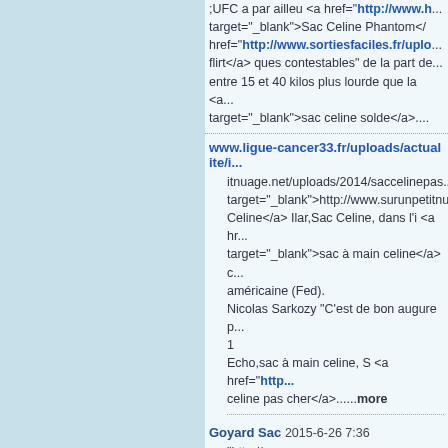;UFC a par ailleu <a href="http://www.h.. target="_blank">Sac Celine Phantom</a>... href="http://www.sortiesfaciles.fr/uplo... flirt</a> ques contestables" de la part de... entre 15 et 40 kilos plus lourde que la <a... target="_blank">sac celine solde</a>...
www.ligue-cancer33.fr/uploads/actualite/i... itnuage.net/uploads/2014/saccelinepas... target="_blank">http://www.surunpetitnu... Celine</a> Ilar,Sac Celine, dans l'i <a hr... target="_blank">sac à main celine</a> c... américaine (Fed). Nicolas Sarkozy "C'est de bon augure p... 1 Echo,sac à main celine, S <a href="http... celine pas cher</a>......more
Goyard Sac 2015-6-26 7:36 "http://www.groupe-maurin.com/resource... target="_blank">http://www.groupe-mau... target="_blank">Sac Goyard</a> sages... href="http://www.fondationhoteldieuse... Perfect Curl</a> e l'entreprise pour pren... Perfect Curl. Seulement elle avait la res... href="http://www.fmlbe.eu/Images/Ba... Babyliss Pro Perfect C...